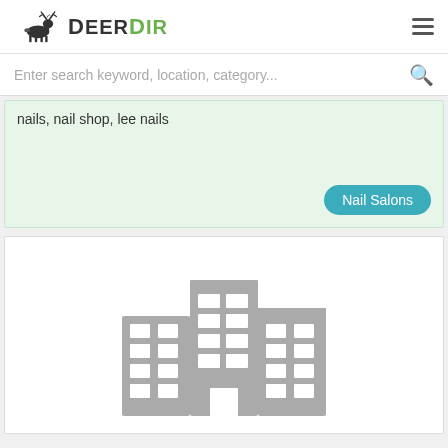DeerDir
Enter search keyword, location, category...
nails, nail shop, lee nails
Nail Salons
[Figure (illustration): Grey building/office block placeholder icon on white background]